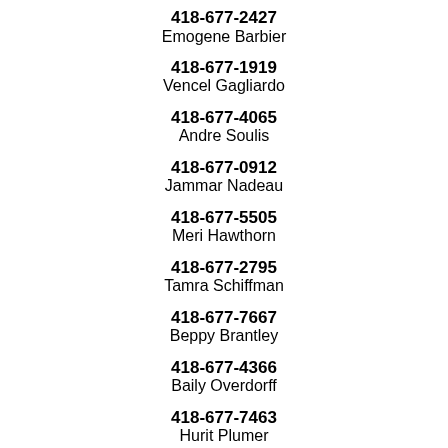418-677-2427
Emogene Barbier
418-677-1919
Vencel Gagliardo
418-677-4065
Andre Soulis
418-677-0912
Jammar Nadeau
418-677-5505
Meri Hawthorn
418-677-2795
Tamra Schiffman
418-677-7667
Beppy Brantley
418-677-4366
Baily Overdorff
418-677-7463
Hurit Plumer